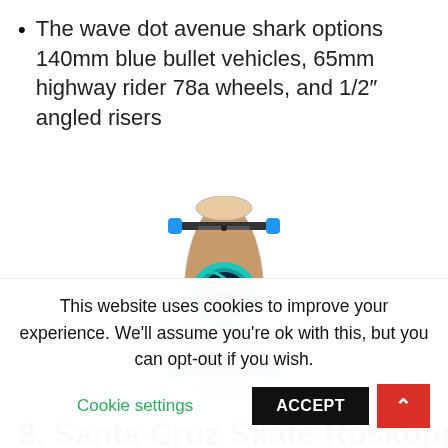The wave dot avenue shark options 140mm blue bullet vehicles, 65mm highway rider 78a wheels, and 1/2″ angled risers
[Figure (photo): Santa Cruz skateboard with wave dot design, teal/turquoise graphic with Santa Cruz logo, blue wheels, viewed from above on a white background]
8. Santa Cruz Skate Roskopp
This website uses cookies to improve your experience. We'll assume you're ok with this, but you can opt-out if you wish.